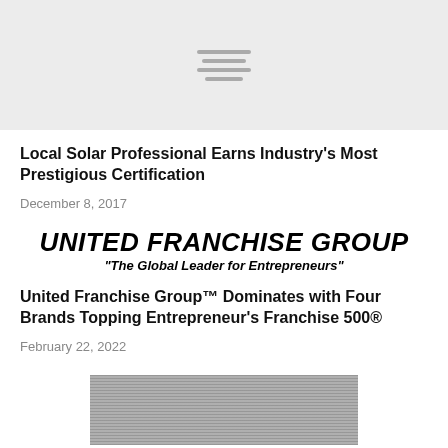[Figure (screenshot): Gray placeholder area with horizontal menu/loading lines in the center]
Local Solar Professional Earns Industry's Most Prestigious Certification
December 8, 2017
[Figure (logo): United Franchise Group logo with text 'UNITED FRANCHISE GROUP' in bold italic and tagline 'The Global Leader for Entrepreneurs']
United Franchise Group™ Dominates with Four Brands Topping Entrepreneur's Franchise 500®
February 22, 2022
[Figure (photo): Partially visible black and white photo at the bottom of the page]